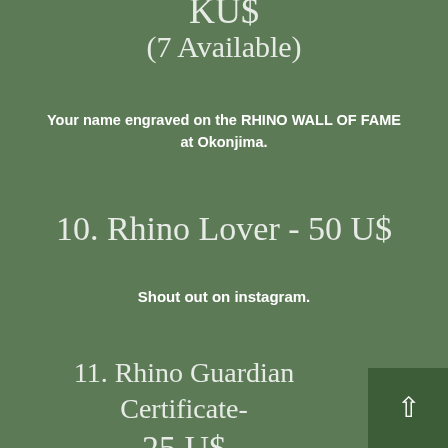KUS
(7 Available)
Your name engraved on the RHINO WALL OF FAME at Okonjima.
10. Rhino Lover - 50 U$
Shout out on instagram.
11. Rhino Guardian Certificate- 25 U$